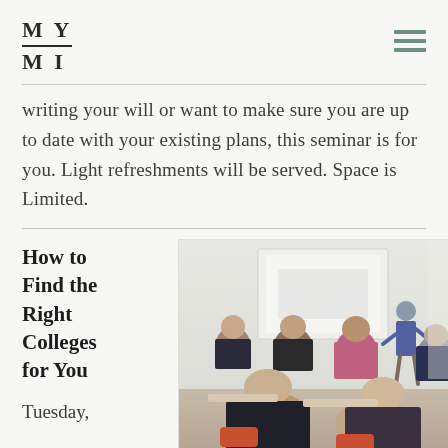MY MI
writing your will or want to make sure you are up to date with your existing plans, this seminar is for you. Light refreshments will be served. Space is Limited.
How to Find the Right Colleges for You
[Figure (photo): People seated in a seminar/classroom setting viewed from behind, facing a presenter at the front near a projection screen]
Tuesday,